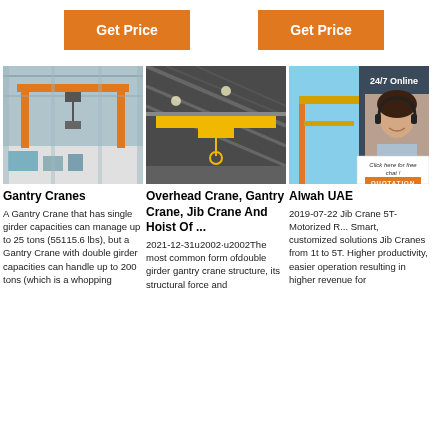[Figure (other): Two orange 'Get Price' buttons at top of page]
[Figure (photo): Photo of an orange gantry crane inside an industrial warehouse]
Gantry Cranes
A Gantry Crane that has single girder capacities can manage up to 25 tons (55115.6 lbs), but a Gantry Crane with double girder capacities can handle up to 200 tons (which is a whopping
[Figure (photo): Photo of a yellow overhead crane with hoist in an industrial building]
Overhead Crane, Gantry Crane, Jib Crane And Hoist Of ...
2021-12-31u2002·u2002The most common form ofdouble girder gantry crane structure, its structural force and
[Figure (photo): Photo showing a crane outdoors plus an inset image of a customer service woman with headset; overlay shows '24/7 Online' badge and 'Click here for free chat!' with QUOTATION button]
Alwah UAE
2019-07-22 Jib Crane 5T- Motorized R... Smart, customized solutions Jib Cranes from 1t to 5T. Higher productivity, easier operation resulting in higher revenue for